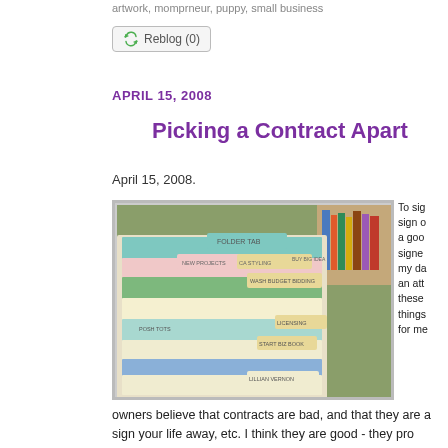artwork, momprneur, puppy, small business
[Figure (other): Reblog (0) button with recycling icon]
APRIL 15, 2008
Picking a Contract Apart
April 15, 2008.
[Figure (photo): Photo of stacked file folders with labeled tabs including POSH TOTS, LICENSING, START BIZ BOOK, LILLIAN VERNON, WASH BUDGET BIDDING, and others]
To sign or not sign or... a good signed my da an att these things for me
owners believe that contracts are bad, and that they are a sign your life away, etc. I think they are good - they pro